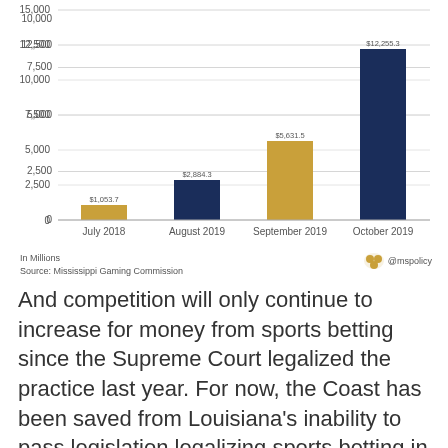[Figure (bar-chart): Mississippi Sports Betting Revenue]
In Millions
Source: Mississippi Gaming Commission
And competition will only continue to increase for money from sports betting since the Supreme Court legalized the practice last year. For now, the Coast has been saved from Louisiana's inability to pass legislation legalizing sports betting in the Pelican State. They will surely try again.